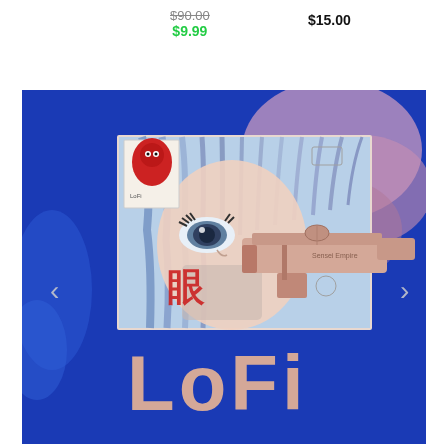$90.00
$9.99
$15.00
[Figure (photo): Product image of a LoFi album or art print featuring anime-style artwork with blue-haired character, Japanese characters, and a stylized gun graphic on a bright blue background. Large pink/rose gold 'LoFi' text at bottom.]